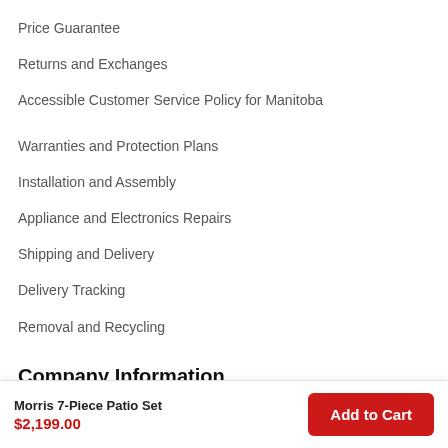Price Guarantee
Returns and Exchanges
Accessible Customer Service Policy for Manitoba
Warranties and Protection Plans
Installation and Assembly
Appliance and Electronics Repairs
Shipping and Delivery
Delivery Tracking
Removal and Recycling
Complete Your Payment
Company Information
Morris 7-Piece Patio Set
$2,199.00
Add to Cart